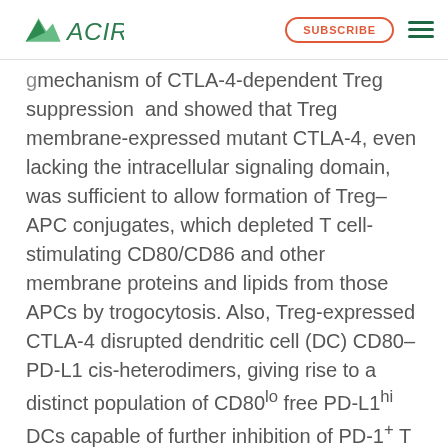ACIR | SUBSCRIBE
mechanism of CTLA-4-dependent Treg suppression and showed that Treg membrane-expressed mutant CTLA-4, even lacking the intracellular signaling domain, was sufficient to allow formation of Treg–APC conjugates, which depleted T cell-stimulating CD80/CD86 and other membrane proteins and lipids from those APCs by trogocytosis. Also, Treg-expressed CTLA-4 disrupted dendritic cell (DC) CD80–PD-L1 cis-heterodimers, giving rise to a distinct population of CD80lo free PD-L1hi DCs capable of further inhibition of PD-1+ T cells, revealing an additional mechanism for